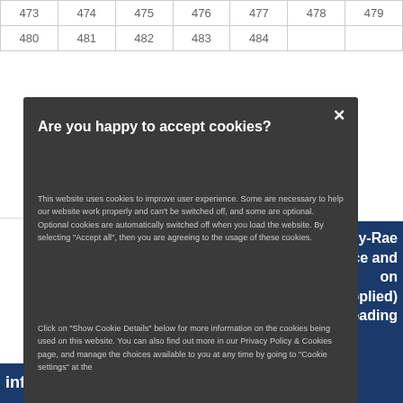| 473 | 474 | 475 | 476 | 477 | 478 | 479 |
| 480 | 481 | 482 | 483 | 484 |  |  |
[Figure (screenshot): Cookie consent modal dialog with dark background overlay. Title: 'Are you happy to accept cookies?' with body text explaining cookie usage and a close (x) button.]
aly-Rae tice and on upplied) sleading
information: and if she will make a